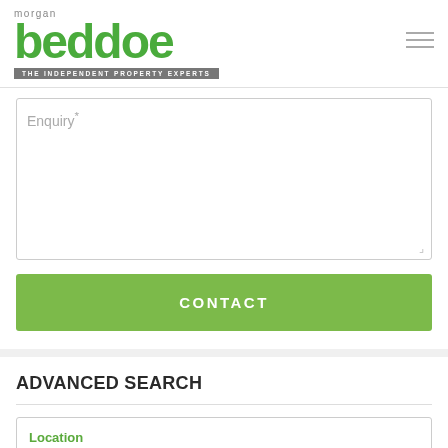[Figure (logo): Morgan Beddoe - The Independent Property Experts logo in green and grey]
Enquiry*
CONTACT
ADVANCED SEARCH
Location